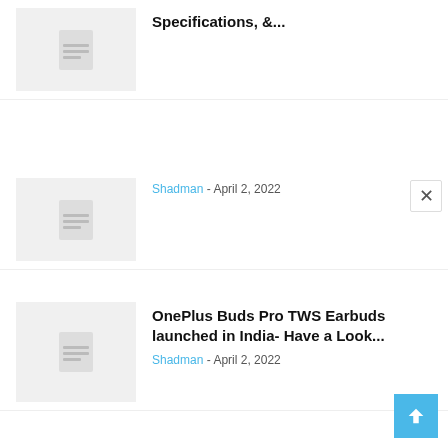Specifications, &...
Shadman - April 2, 2022
OnePlus Buds Pro TWS Earbuds launched in India- Have a Look...
Shadman - April 2, 2022